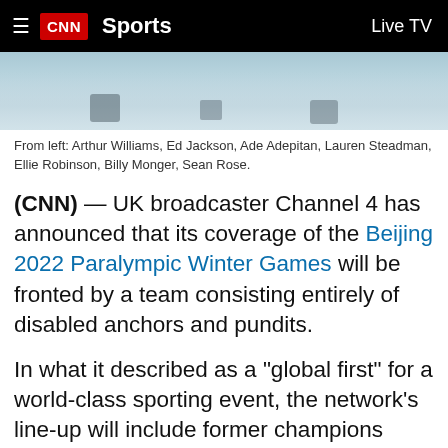≡ CNN Sports  Live TV
[Figure (photo): Partial view of a snowy outdoor scene, bottom portion of an image showing figures in winter/Paralympic setting]
From left: Arthur Williams, Ed Jackson, Ade Adepitan, Lauren Steadman, Ellie Robinson, Billy Monger, Sean Rose.
(CNN) — UK broadcaster Channel 4 has announced that its coverage of the Beijing 2022 Paralympic Winter Games will be fronted by a team consisting entirely of disabled anchors and pundits.
In what it described as a "global first" for a world-class sporting event, the network's line-up will include former champions presenting on the ground in China when the games begin next month.
A daily highlights show will be helmed by Ade